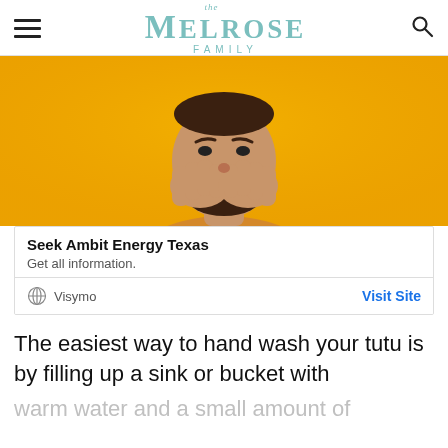the MELROSE FAMILY
[Figure (photo): Man with beard covering his mouth with both hands against a bright yellow/orange background, wearing an orange t-shirt]
Seek Ambit Energy Texas
Get all information.
Visymo   Visit Site
The easiest way to hand wash your tutu is by filling up a sink or bucket with warm water and a small amount of